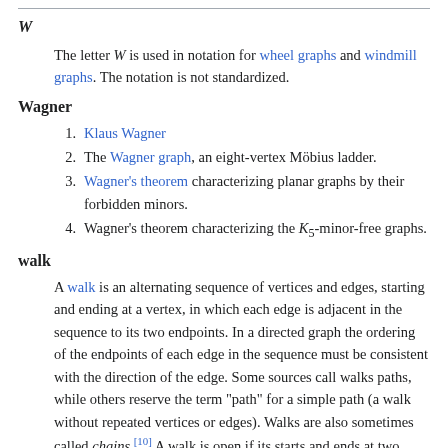W
The letter W is used in notation for wheel graphs and windmill graphs. The notation is not standardized.
Wagner
1. Klaus Wagner
2. The Wagner graph, an eight-vertex Möbius ladder.
3. Wagner's theorem characterizing planar graphs by their forbidden minors.
4. Wagner's theorem characterizing the K5-minor-free graphs.
walk
A walk is an alternating sequence of vertices and edges, starting and ending at a vertex, in which each edge is adjacent in the sequence to its two endpoints. In a directed graph the ordering of the endpoints of each edge in the sequence must be consistent with the direction of the edge. Some sources call walks paths, while others reserve the term "path" for a simple path (a walk without repeated vertices or edges). Walks are also sometimes called chains.[10] A walk is open if its starts and ends at two different vertices, and closed if it starts and ends at the